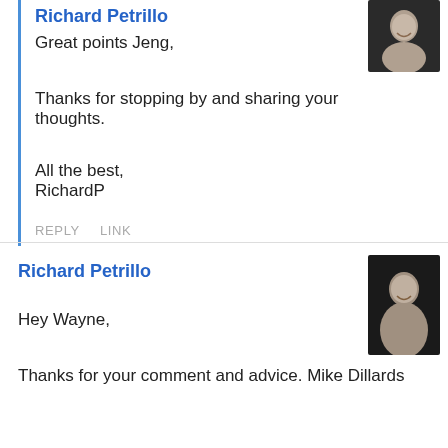Richard Petrillo
Great points Jeng,
Thanks for stopping by and sharing your thoughts.
All the best,
RichardP
REPLY   LINK
Richard Petrillo
Hey Wayne,
Thanks for your comment and advice. Mike Dillards